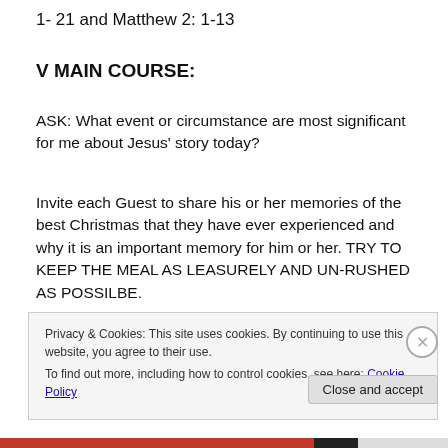1- 21 and Matthew 2: 1-13
V MAIN COURSE:
ASK: What event or circumstance are most significant for me about Jesus' story today?
Invite each Guest to share his or her memories of the best Christmas that they have ever experienced and why it is an important memory for him or her. TRY TO KEEP THE MEAL AS LEASURELY AND UN-RUSHED AS POSSILBE.
Any Similarities between Jesus' story and the Christmas
Privacy & Cookies: This site uses cookies. By continuing to use this website, you agree to their use. To find out more, including how to control cookies, see here: Cookie Policy
Close and accept